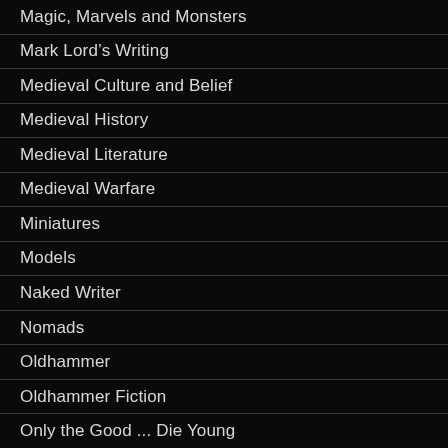Magic, Marvels and Monsters
Mark Lord's Writing
Medieval Culture and Belief
Medieval History
Medieval Literature
Medieval Warfare
Miniatures
Models
Naked Writer
Nomads
Oldhammer
Oldhammer Fiction
Only the Good ... Die Young